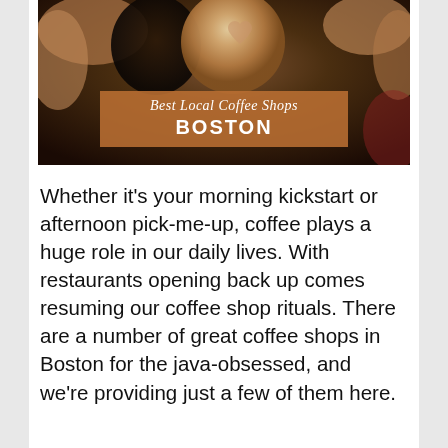[Figure (photo): Photo of people holding up coffee cups (a latte art cup prominent in center), with a semi-transparent orange-brown banner overlay reading 'Best Local Coffee Shops' in italic script above 'BOSTON' in bold white capital letters.]
Whether it's your morning kickstart or afternoon pick-me-up, coffee plays a huge role in our daily lives. With restaurants opening back up comes resuming our coffee shop rituals. There are a number of great coffee shops in Boston for the java-obsessed, and we're providing just a few of them here.